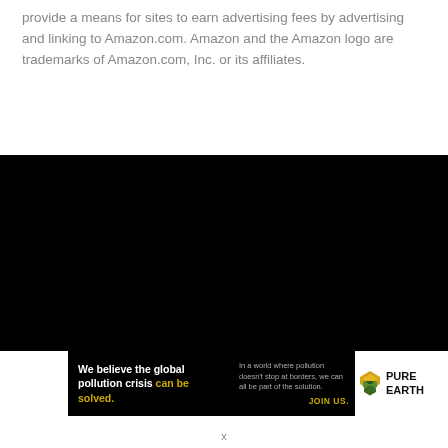provide a means for sites to earn advertising fees by advertising and linking to Amazon.com. Amazon and the Amazon logo are trademarks of Amazon.com, Inc. or its affiliates.
[Figure (other): Large black rectangular area filling the middle section of the page]
[Figure (infographic): Pure Earth advertisement banner: left section black with text 'We believe the global pollution crisis can be solved.' Middle section black with 'In a world where pollution doesn't stop at borders, we can all be part of the solution. JOIN US.' Right section white with Pure Earth diamond logo and 'PURE EARTH' text.]
x